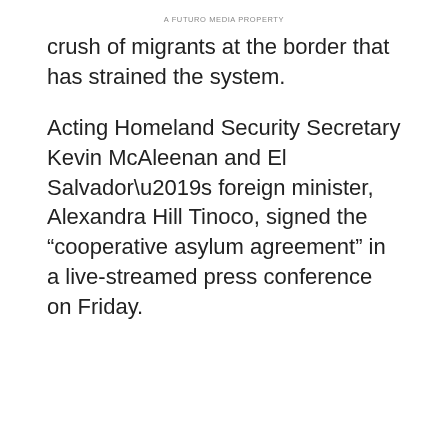A FUTURO MEDIA PROPERTY
crush of migrants at the border that has strained the system.
Acting Homeland Security Secretary Kevin McAleenan and El Salvador’s foreign minister, Alexandra Hill Tinoco, signed the “cooperative asylum agreement” in a live-streamed press conference on Friday.